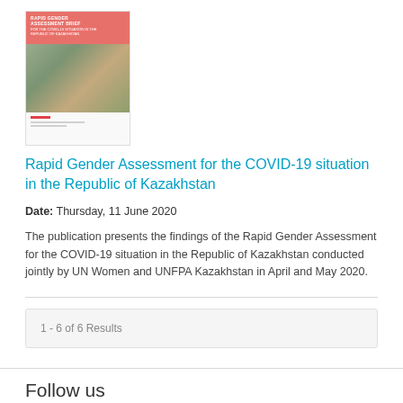[Figure (illustration): Thumbnail cover image of the Rapid Gender Assessment report showing a document cover with red/orange header text and a photo of two people outdoors]
Rapid Gender Assessment for the COVID-19 situation in the Republic of Kazakhstan
Date: Thursday, 11 June 2020
The publication presents the findings of the Rapid Gender Assessment for the COVID-19 situation in the Republic of Kazakhstan conducted jointly by UN Women and UNFPA Kazakhstan in April and May 2020.
1 - 6 of 6 Results
Follow us